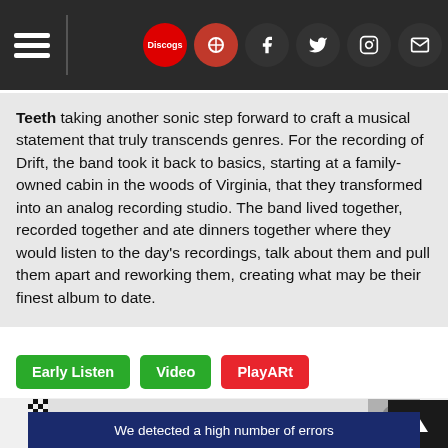Navigation bar with hamburger menu and social icons (Discogs, Facebook, Twitter, Instagram, Email)
Teeth taking another sonic step forward to craft a musical statement that truly transcends genres. For the recording of Drift, the band took it back to basics, starting at a family-owned cabin in the woods of Virginia, that they transformed into an analog recording studio. The band lived together, recorded together and ate dinners together where they would listen to the day's recordings, talk about them and pull them apart and reworking them, creating what may be their finest album to date.
Early Listen
Video
PlayARt
[Figure (logo): Marcus King logo in golden retro lettering with checkered border and artist photo]
We detected a high number of errors